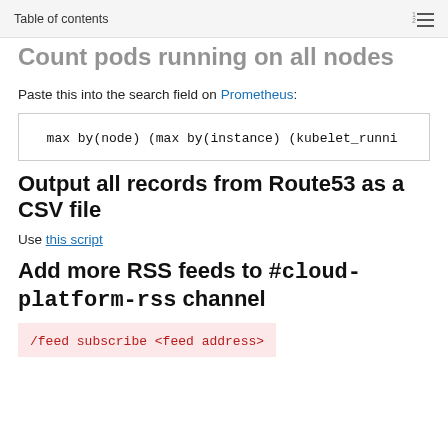Table of contents
Count pods running on all nodes
Paste this into the search field on Prometheus:
Output all records from Route53 as a CSV file
Use this script
Add more RSS feeds to #cloud-platform-rss channel